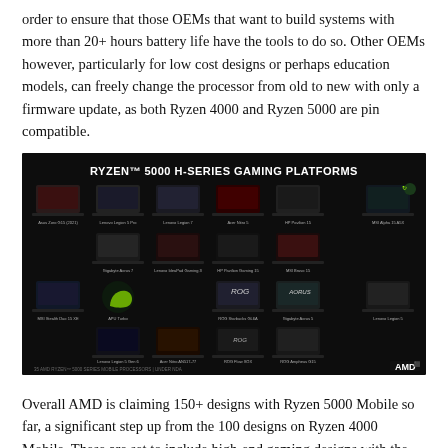order to ensure that those OEMs that want to build systems with more than 20+ hours battery life have the tools to do so. Other OEMs however, particularly for low cost designs or perhaps education models, can freely change the processor from old to new with only a firmware update, as both Ryzen 4000 and Ryzen 5000 are pin compatible.
[Figure (photo): AMD slide titled 'RYZEN™ 5000 H-SERIES GAMING PLATFORMS' showing a dark background grid of approximately 18 gaming laptop models from various OEMs including ASUS, Lenovo, HP, MSI, and others, along with the AMD logo in the bottom right corner.]
Overall AMD is claiming 150+ designs with Ryzen 5000 Mobile so far, a significant step up from the 100 designs on Ryzen 4000 Mobile. These are set to include high-end gaming designs with the